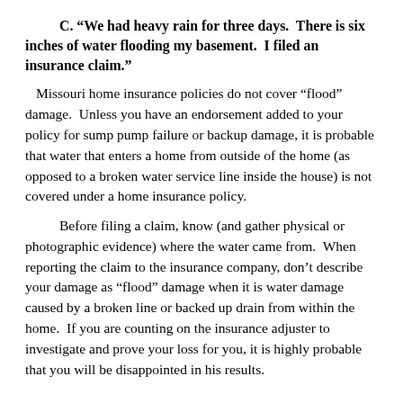C. “We had heavy rain for three days.  There is six inches of water flooding my basement.  I filed an insurance claim.”
Missouri home insurance policies do not cover “flood” damage.  Unless you have an endorsement added to your policy for sump pump failure or backup damage, it is probable that water that enters a home from outside of the home (as opposed to a broken water service line inside the house) is not covered under a home insurance policy.
Before filing a claim, know (and gather physical or photographic evidence) where the water came from.  When reporting the claim to the insurance company, don’t describe your damage as “flood” damage when it is water damage caused by a broken line or backed up drain from within the home.  If you are counting on the insurance adjuster to investigate and prove your loss for you, it is highly probable that you will be disappointed in his results.
After you have presented proof of your covered loss to your insurance carrier, they should pay you – unless they can prove that your loss is